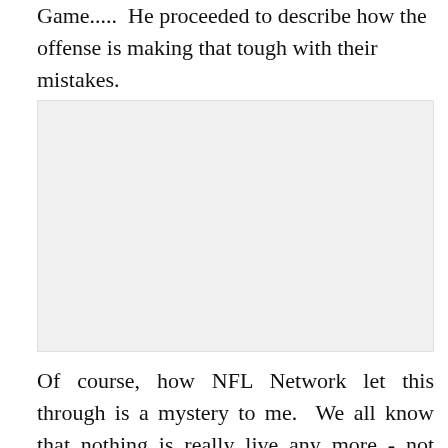Game.....  He proceeded to describe how the offense is making that tough with their mistakes.
[Figure (other): Gray/white blank image placeholder area]
Of course, how NFL Network let this through is a mystery to me.  We all know that nothing is really live any more - not after the 'equipment malfunction' a few seasons ago.  Some people still felt it was live, figuring the...